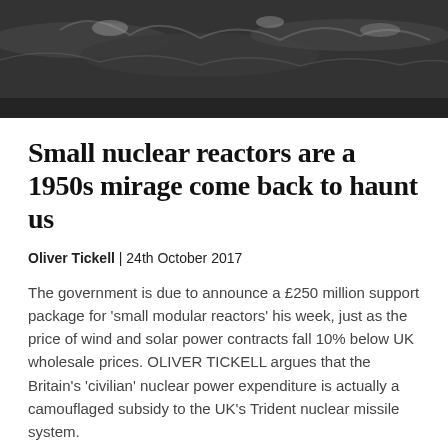[Figure (photo): Black and white photograph showing water or waves with splashing, dark tones]
Small nuclear reactors are a 1950s mirage come back to haunt us
Oliver Tickell | 24th October 2017
The government is due to announce a £250 million support package for 'small modular reactors' his week, just as the price of wind and solar power contracts fall 10% below UK wholesale prices. OLIVER TICKELL argues that the Britain's 'civilian' nuclear power expenditure is actually a camouflaged subsidy to the UK's Trident nuclear missile system.
[Figure (photo): Dark green background image, appears to be a landscape or environmental photograph with green gradient tones]